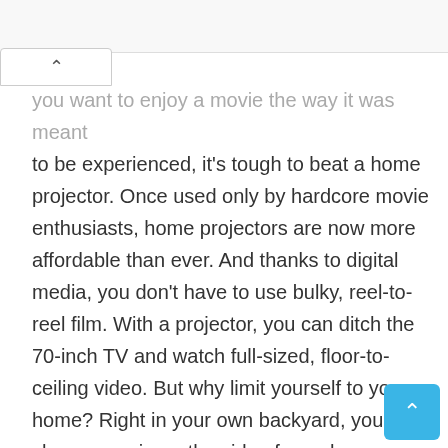you want to enjoy a movie the way it was meant to be experienced, it's tough to beat a home projector. Once used only by hardcore movie enthusiasts, home projectors are now more affordable than ever. And thanks to digital media, you don't have to use bulky, reel-to-reel film. With a projector, you can ditch the 70-inch TV and watch full-sized, floor-to-ceiling video. But why limit yourself to your home? Right in your own backyard, you can show a movie on the side of your house or on an outdoor screen. If you want to entertain 50 guests and host your own movie night, you can.

But using a projector outdoors can be a risky